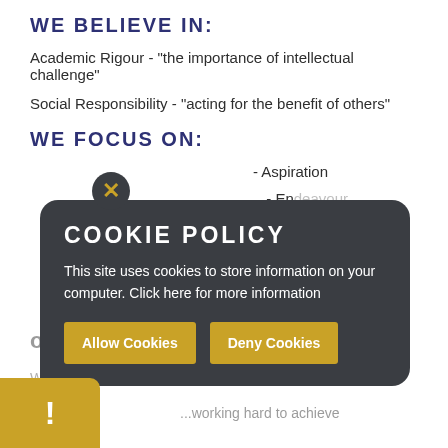WE BELIEVE IN:
Academic Rigour - "the importance of intellectual challenge"
Social Responsibility - "acting for the benefit of others"
WE FOCUS ON:
- Aspiration
- Endeavour
- Community
[Figure (other): Cookie policy popup overlay on a dark rounded rectangle background with an X close button, title 'COOKIE POLICY', body text 'This site uses cookies to store information on your computer. Click here for more information', and two gold buttons labeled 'Allow Cookies' and 'Deny Cookies'. A gold warning bar with exclamation mark appears at bottom left.]